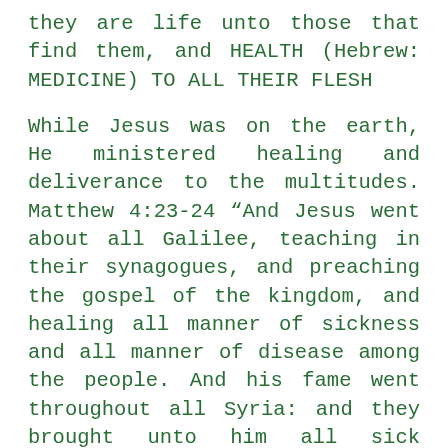they are life unto those that find them, and HEALTH (Hebrew: MEDICINE) TO ALL THEIR FLESH
While Jesus was on the earth, He ministered healing and deliverance to the multitudes. Matthew 4:23-24 “And Jesus went about all Galilee, teaching in their synagogues, and preaching the gospel of the kingdom, and healing all manner of sickness and all manner of disease among the people. And his fame went throughout all Syria: and they brought unto him all sick people that were taken with diverse diseases and torment, and those which were possessed with